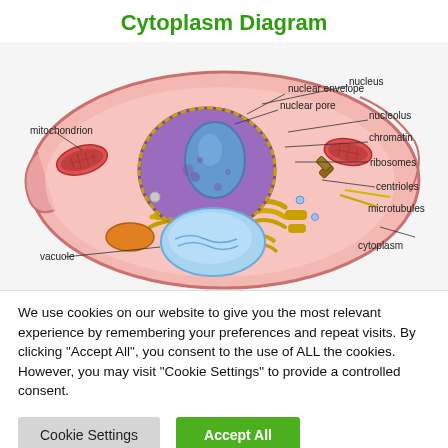Cytoplasm Diagram
[Figure (illustration): Labeled diagram of an animal cell showing cytoplasm, nucleus, nucleolus, nuclear envelope, nuclear pore, chromatin, ribosomes, centrioles, microtubules, mitochondrion, vacuole, and other organelles.]
We use cookies on our website to give you the most relevant experience by remembering your preferences and repeat visits. By clicking “Accept All”, you consent to the use of ALL the cookies. However, you may visit “Cookie Settings” to provide a controlled consent.
Cookie Settings    Accept All